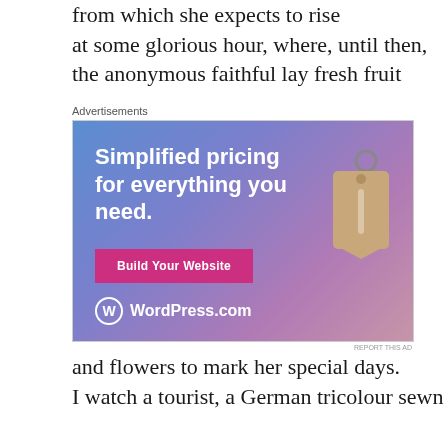from which she expects to rise
at some glorious hour, where, until then,
the anonymous faithful lay fresh fruit
[Figure (screenshot): WordPress.com advertisement with blue-to-purple gradient background. Text: 'Simplified pricing for everything you need.' with a 'Build Your Website' pink button and a price tag graphic. WordPress.com logo at bottom left.]
Advertisements
REPORT THIS AD
and flowers to mark her special days.
I watch a tourist, a German tricolour sewn